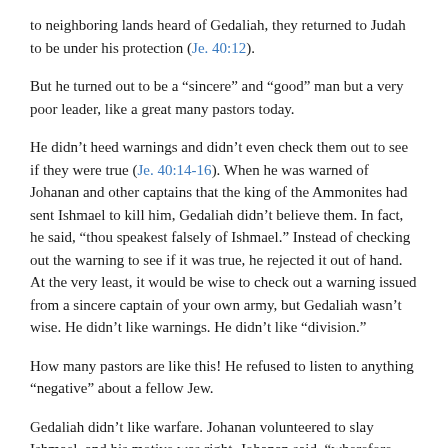to neighboring lands heard of Gedaliah, they returned to Judah to be under his protection (Je. 40:12).
But he turned out to be a “sincere” and “good” man but a very poor leader, like a great many pastors today.
He didn’t heed warnings and didn’t even check them out to see if they were true (Je. 40:14-16). When he was warned of Johanan and other captains that the king of the Ammonites had sent Ishmael to kill him, Gedaliah didn’t believe them. In fact, he said, “thou speakest falsely of Ishmael.” Instead of checking out the warning to see if it was true, he rejected it out of hand. At the very least, it would be wise to check out a warning issued from a sincere captain of your own army, but Gedaliah wasn’t wise. He didn’t like warnings. He didn’t like “division.”
How many pastors are like this! He refused to listen to anything “negative” about a fellow Jew.
Gedaliah didn’t like warfare. Johanan volunteered to slay Ishmael, and his motive was right. Johanan said, “wherefore should he slay thee, that all the Jews which are gathered unto